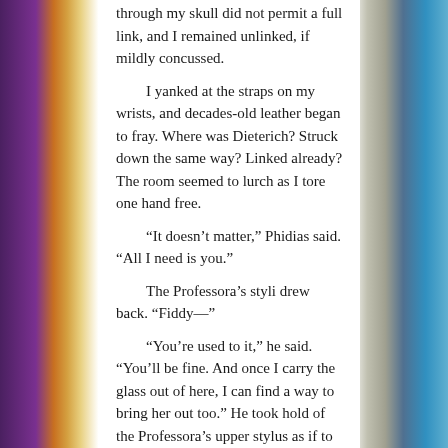through my skull did not permit a full link, and I remained unlinked, if mildly concussed.
I yanked at the straps on my wrists, and decades-old leather began to fray. Where was Dieterich? Struck down the same way? Linked already? The room seemed to lurch as I tore one hand free.
“It doesn’t matter,” Phidias said. “All I need is you.”
The Professora’s styli drew back. “Fiddy—”
“You’re used to it,” he said. “You’ll be fine. And once I carry the glass out of here, I can find a way to bring her out too.” He took hold of the Professora’s upper stylus as if to shake hands, then jammed it into a socket on the console.
A strangled noise—not a scream, nothing with